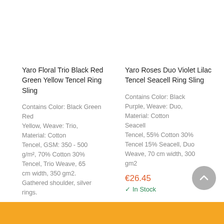Yaro Floral Trio Black Red Green Yellow Tencel Ring Sling
Contains Color: Black Green Red Yellow, Weave: Trio, Material: Cotton Tencel, GSM: 350 - 500 g/m², 70% Cotton 30% Tencel, Trio Weave, 65 cm width, 350 gm2. Gathered shoulder, silver rings.
Yaro Roses Duo Violet Lilac Tencel Seacell Ring Sling
Contains Color: Black Purple, Weave: Duo, Material: Cotton Seacell Tencel, 55% Cotton 30% Tencel 15% Seacell, Duo Weave, 70 cm width, 300 gm2
€26.45
In Stock